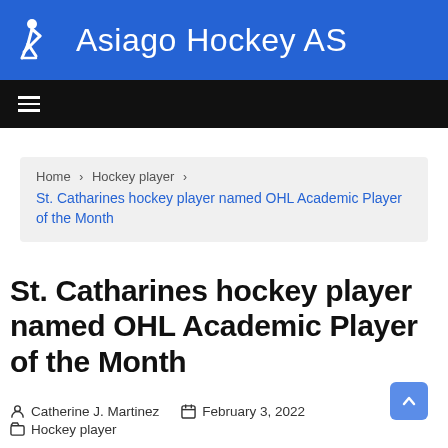Asiago Hockey AS
[Figure (logo): Asiago Hockey AS website header with blue background, hockey player icon and site name in white text]
Home > Hockey player > St. Catharines hockey player named OHL Academic Player of the Month
St. Catharines hockey player named OHL Academic Player of the Month
Catherine J. Martinez  February 3, 2022  Hockey player